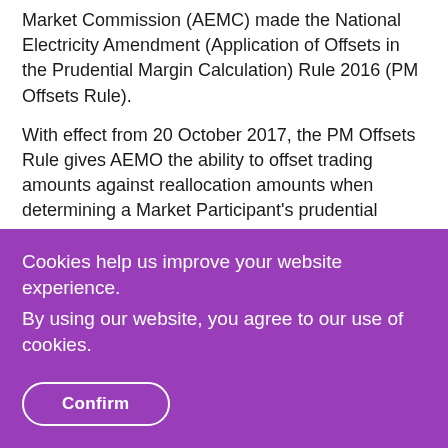Market Commission (AEMC) made the National Electricity Amendment (Application of Offsets in the Prudential Margin Calculation) Rule 2016 (PM Offsets Rule).
With effect from 20 October 2017, the PM Offsets Rule gives AEMO the ability to offset trading amounts against reallocation amounts when determining a Market Participant's prudential...
Cookies help us improve your website experience.
By using our website, you agree to our use of cookies.
Confirm